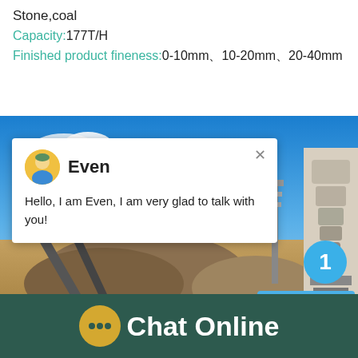Stone,coal
Capacity:177T/H
Finished product fineness:0-10mm、10-20mm、20-40mm
[Figure (photo): Industrial stone crushing plant with conveyor belts, cone crusher machine, and gravel piles under blue sky. Chat popup overlay showing agent 'Even' with message: Hello, I am Even, I am very glad to talk with you!]
Chat Online